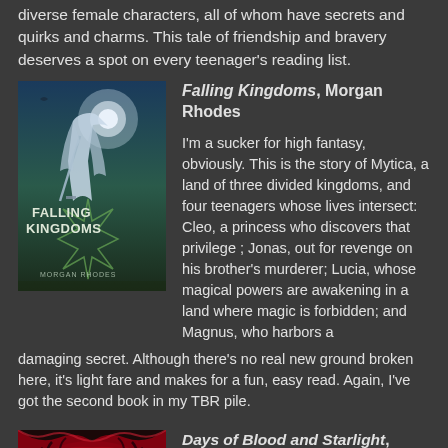diverse female characters, all of whom have secrets and quirks and charms. This tale of friendship and bravery deserves a spot on every teenager's reading list.
[Figure (illustration): Book cover of Falling Kingdoms by Morgan Rhodes showing a cloaked figure with a sword and a circular emblem]
Falling Kingdoms, Morgan Rhodes
I'm a sucker for high fantasy, obviously. This is the story of Mytica, a land of three divided kingdoms, and four teenagers whose lives intersect: Cleo, a princess who discovers that privilege ; Jonas, out for revenge on his brother's murderer; Lucia, whose magical powers are awakening in a land where magic is forbidden; and Magnus, who harbors a damaging secret. Although there's no real new ground broken here, it's light fare and makes for a fun, easy read. Again, I've got the second book in my TBR pile.
[Figure (illustration): Book cover of Days of Blood and Starlight by Laini Taylor showing a dramatic red eye with dark makeup]
Days of Blood and Starlight, Laini Taylor
I adored Daughter of Smoke and Bone,